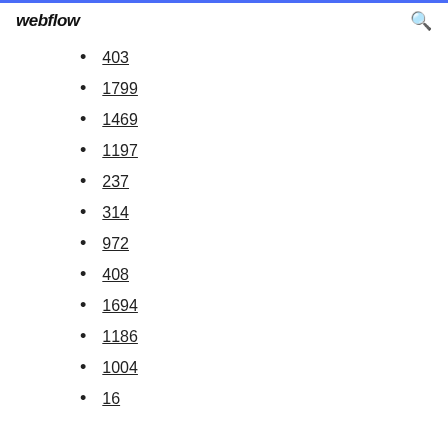webflow
403
1799
1469
1197
237
314
972
408
1694
1186
1004
16